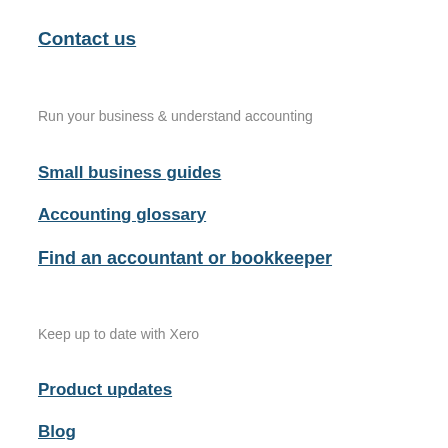Contact us
Run your business & understand accounting
Small business guides
Accounting glossary
Find an accountant or bookkeeper
Keep up to date with Xero
Product updates
Blog
Small business insights